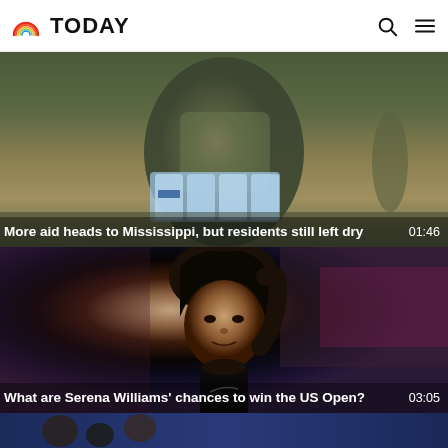TODAY
[Figure (photo): Person in military/camouflage uniform carrying cases of Niagara water bottles outdoors]
More aid heads to Mississippi, but residents still left dry   01:46
[Figure (photo): Serena Williams with hair pulled back, wearing black athletic wear, looking intense on a tennis court with blurred background]
What are Serena Williams' chances to win the US Open?   03:05
[Figure (photo): Partial view of person at bottom of page, blue background]